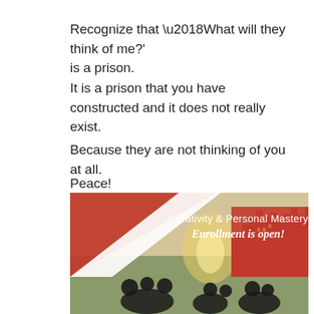Recognize that ‘What will they think of me?’ is a prison.
It is a prison that you have constructed and it does not really exist.
Because they are not thinking of you at all.
Peace!
[Figure (infographic): Red and white banner advertisement for 'Creativity & Personal Mastery' course with 'Enrollment is open!' text overlay, featuring a background photo of people sitting on grass with a city skyline silhouette in red on the right side.]